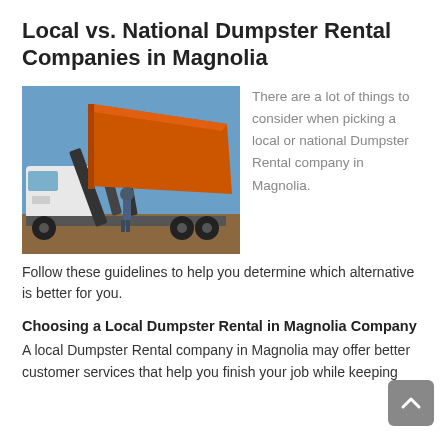Local vs. National Dumpster Rental Companies in Magnolia
[Figure (photo): A large truck with an orange dumpster/roll-off container tilted upward on a trailer, outdoors on a dirt area under a blue sky. A person stands near the truck.]
There are a lot of things to consider when picking a local or national Dumpster Rental company in Magnolia.
Follow these guidelines to help you determine which alternative is better for you.
Choosing a Local Dumpster Rental in Magnolia Company
A local Dumpster Rental company in Magnolia may offer better customer services that help you finish your job while keeping